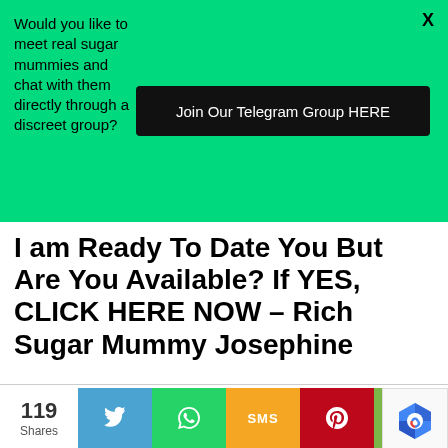[Figure (infographic): Green banner advertisement asking users to meet real sugar mummies and chat with them directly through a discreet group, with a black button reading 'Join Our Telegram Group HERE' and a close X in the top right]
I am Ready To Date You But Are You Available? If YES, CLICK HERE NOW – Rich Sugar Mummy Josephine
119 Shares
[Figure (infographic): Social share bar with Twitter, WhatsApp, SMS, Pinterest, and generic share buttons]